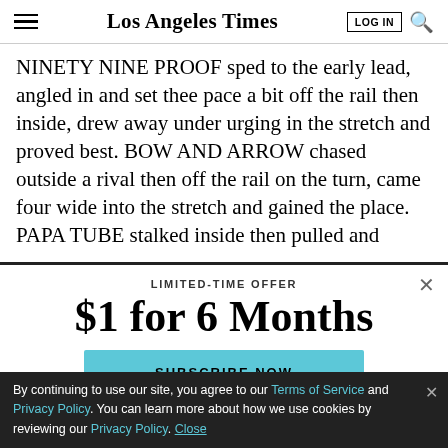Los Angeles Times
NINETY NINE PROOF sped to the early lead, angled in and set thee pace a bit off the rail then inside, drew away under urging in the stretch and proved best. BOW AND ARROW chased outside a rival then off the rail on the turn, came four wide into the stretch and gained the place. PAPA TUBE stalked inside then pulled and
LIMITED-TIME OFFER
$1 for 6 Months
SUBSCRIBE NOW
By continuing to use our site, you agree to our Terms of Service and Privacy Policy. You can learn more about how we use cookies by reviewing our Privacy Policy. Close